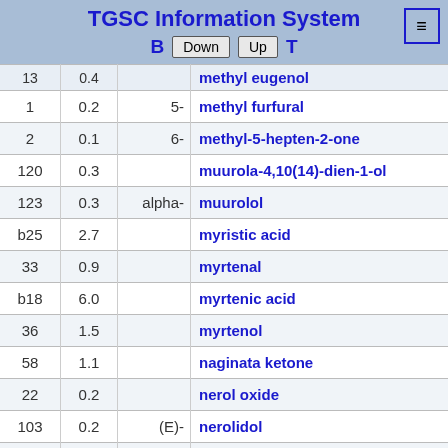TGSC Information System
| # | % | prefix | compound |
| --- | --- | --- | --- |
| 1 | 0.2 | 5- | methyl furfural |
| 2 | 0.1 | 6- | methyl-5-hepten-2-one |
| 120 | 0.3 |  | muurola-4,10(14)-dien-1-ol |
| 123 | 0.3 | alpha- | muurolol |
| b25 | 2.7 |  | myristic acid |
| 33 | 0.9 |  | myrtenal |
| b18 | 6.0 |  | myrtenic acid |
| 36 | 1.5 |  | myrtenol |
| 58 | 1.1 |  | naginata ketone |
| 22 | 0.2 |  | nerol oxide |
| 103 | 0.2 | (E)- | nerolidol |